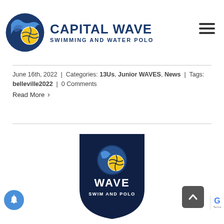[Figure (logo): Capital Wave Swimming and Water Polo logo with wave and water polo ball graphic in blue and yellow, followed by bold dark blue text 'CAPITAL WAVE' and 'SWIMMING AND WATER POLO']
June 16th, 2022  |  Categories: 13Us, Junior WAVES, News  |  Tags: belleville2022  |  0 Comments
Read More >
[Figure (logo): Capital Wave shield logo in dark navy blue with circular water polo ball emblem in blue and yellow, text 'WAVE' in white bold letters and 'SWIM AND POLO' below in white]
[Figure (other): Scroll to top button (dark grey rounded square with up chevron arrow)]
[Figure (other): Notification bell button (blue circle with white bell icon)]
Terms